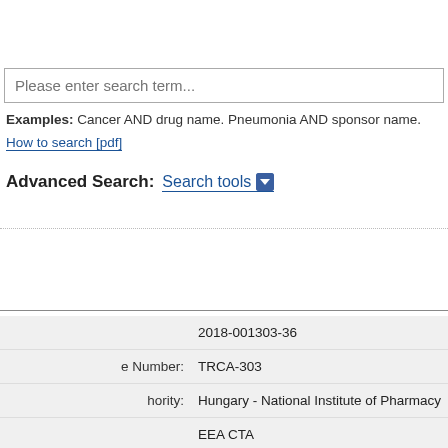Please enter search term...
Examples: Cancer AND drug name. Pneumonia AND sponsor name.
How to search [pdf]
Advanced Search: Search tools
|  |  |
| --- | --- |
|  | 2018-001303-36 |
| e Number: | TRCA-303 |
| hority: | Hungary - National Institute of Pharmacy |
|  | EEA CTA |
|  | Ongoing |